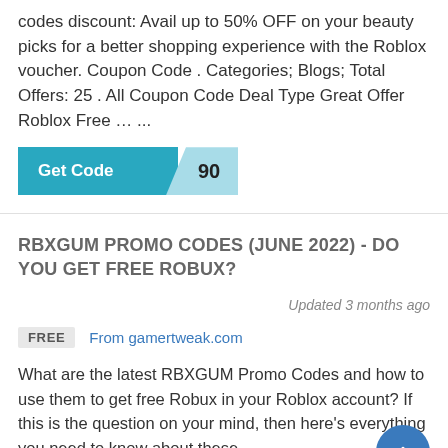codes discount: Avail up to 50% OFF on your beauty picks for a better shopping experience with the Roblox voucher. Coupon Code . Categories; Blogs; Total Offers: 25 . All Coupon Code Deal Type Great Offer Roblox Free … ...
[Figure (other): A teal 'Get Code' button with a partially revealed code '90' shown in a lighter blue tab on the right side]
RBXGUM PROMO CODES (JUNE 2022) - DO YOU GET FREE ROBUX?
Updated 3 months ago
FREE  From gamertweak.com
What are the latest RBXGUM Promo Codes and how to use them to get free Robux in your Roblox account? If this is the question on your mind, then here's everything you need to know about these